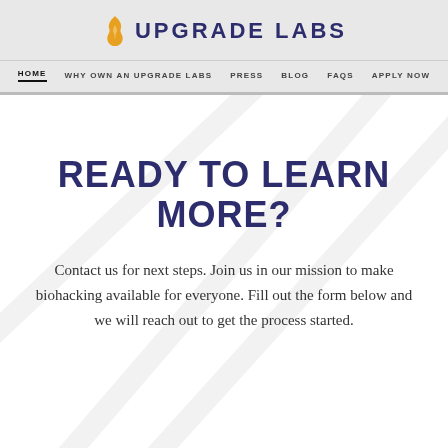UPGRADE LABS
HOME  WHY OWN AN UPGRADE LABS  PRESS  BLOG  FAQS  APPLY NOW
READY TO LEARN MORE?
Contact us for next steps. Join us in our mission to make biohacking available for everyone. Fill out the form below and we will reach out to get the process started.